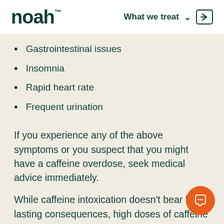noah™  What we treat
Gastrointestinal issues
Insomnia
Rapid heart rate
Frequent urination
If you experience any of the above symptoms or you suspect that you might have a caffeine overdose, seek medical advice immediately.
While caffeine intoxication doesn't bear long-lasting consequences, high doses of caffeine can lead to health issues that